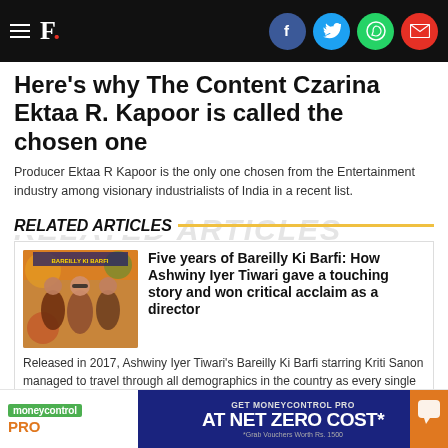F. [logo with social icons: Facebook, Twitter, WhatsApp, Email]
Here's why The Content Czarina Ektaa R. Kapoor is called the chosen one
Producer Ektaa R Kapoor is the only one chosen from the Entertainment industry among visionary industrialists of India in a recent list.
RELATED ARTICLES
[Figure (photo): Movie poster for Bareilly Ki Barfi showing three actors in colorful outfits]
Five years of Bareilly Ki Barfi: How Ashwiny Iyer Tiwari gave a touching story and won critical acclaim as a director
Released in 2017, Ashwiny Iyer Tiwari's Bareilly Ki Barfi starring Kriti Sanon managed to travel through all demographics in the country as every single person related to the story of Bitti.
[Figure (infographic): Moneycontrol PRO advertisement banner: GET MONEYCONTROL PRO AT NET ZERO COST* - Grab Vouchers Worth Rs. 1500]